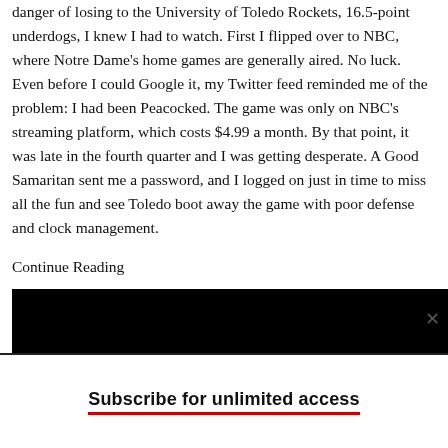danger of losing to the University of Toledo Rockets, 16.5-point underdogs, I knew I had to watch. First I flipped over to NBC, where Notre Dame's home games are generally aired. No luck. Even before I could Google it, my Twitter feed reminded me of the problem: I had been Peacocked. The game was only on NBC's streaming platform, which costs $4.99 a month. By that point, it was late in the fourth quarter and I was getting desperate. A Good Samaritan sent me a password, and I logged on just in time to miss all the fun and see Toledo boot away the game with poor defense and clock management.
Continue Reading
[Figure (photo): Black and white photo showing the top of a person's head with grey/white hair against a black background, cropped at approximately mid-forehead level]
Subscribe for unlimited access